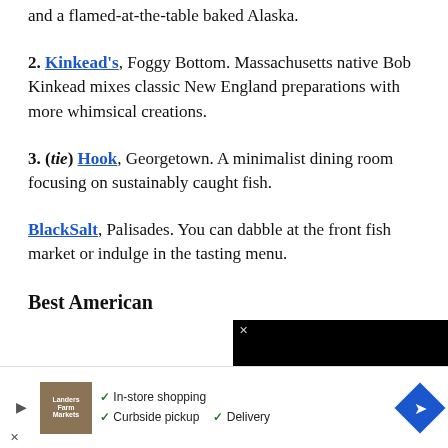and a flamed-at-the-table baked Alaska.
2. Kinkead's, Foggy Bottom. Massachusetts native Bob Kinkead mixes classic New England preparations with more whimsical creations.
3. (tie) Hook, Georgetown. A minimalist dining room focusing on sustainably caught fish.
BlackSalt, Palisades. You can dabble at the front fish market or indulge in the tasting menu.
Best American
[Figure (screenshot): Black video player overlay with close X button and speaker icon]
[Figure (infographic): Advertisement bar with play button, store image, checkmarks for In-store shopping, Curbside pickup, Delivery, and a blue diamond arrow icon]